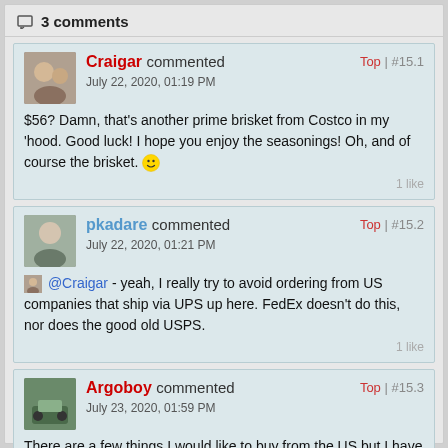3 comments
Craigar commented July 22, 2020, 01:19 PM Top | #15.1
$56? Damn, that's another prime brisket from Costco in my 'hood. Good luck! I hope you enjoy the seasonings! Oh, and of course the brisket. 🙂
1 like
pkadare commented July 22, 2020, 01:21 PM Top | #15.2
@Craigar - yeah, I really try to avoid ordering from US companies that ship via UPS up here. FedEx doesn't do this, nor does the good old USPS.
1 like
Argoboy commented July 23, 2020, 01:59 PM Top | #15.3
There are a few things I would like to buy from the US but I have not due to shippings/duty/brokerage fees.